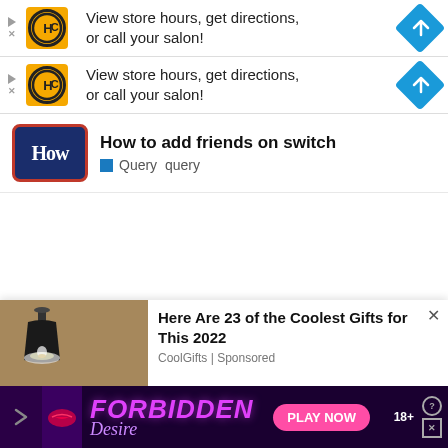[Figure (screenshot): Ad banner 1: HC salon logo with text 'View store hours, get directions, or call your salon!' and blue diamond arrow icon]
[Figure (screenshot): Ad banner 2: HC salon logo with text 'View store hours, get directions, or call your salon!' and blue diamond arrow icon]
How to add friends on switch
Query  query
[Figure (screenshot): Bottom sponsored card: outdoor wall lamp photo with text 'Here Are 23 of the Coolest Gifts for This 2022' by CoolGifts | Sponsored]
[Figure (screenshot): Bottom banner ad: FORBIDDEN Desire - PLAY NOW - 18+]